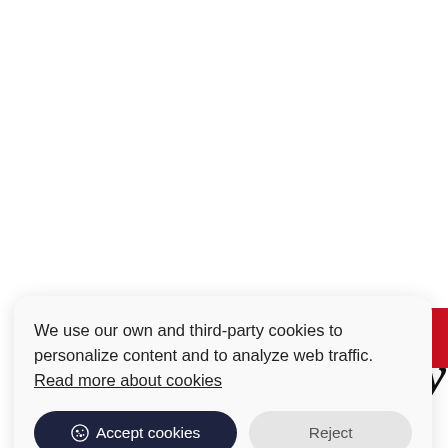[Figure (screenshot): Partial view of a webpage partially obscured by a cookie consent dialog. In the top-right corner, a red block is visible, and below it partially visible italic bold text 'ry'. At the very bottom, partial text is visible.]
We use our own and third-party cookies to personalize content and to analyze web traffic. Read more about cookies
Accept cookies
Reject